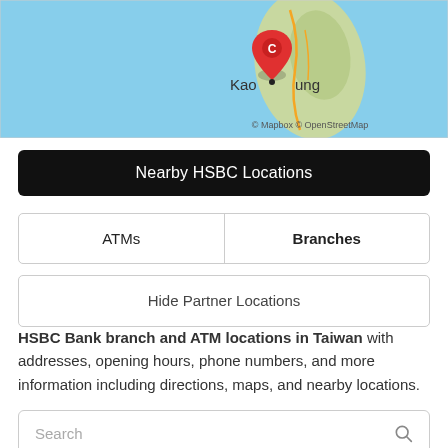[Figure (map): Map showing Taiwan with a red pin marker labeled 'C' near Kaohsiung city. Map credit: © Mapbox © OpenStreetMap]
Nearby HSBC Locations
| ATMs | Branches |
| --- | --- |
Hide Partner Locations
HSBC Bank branch and ATM locations in Taiwan with addresses, opening hours, phone numbers, and more information including directions, maps, and nearby locations.
Search